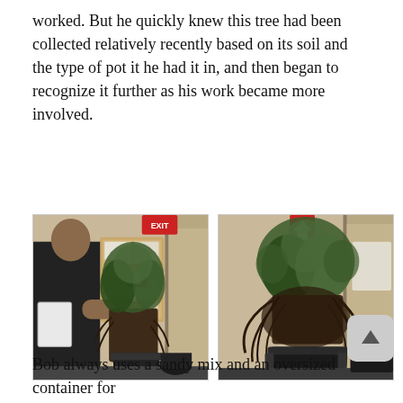worked. But he quickly knew this tree had been collected relatively recently based on its soil and the type of pot it he had it in, and then began to recognize it further as his work became more involved.
[Figure (photo): Two side-by-side photos of a bonsai tree in a black pot. Left photo shows a person in a black t-shirt working on the tree in an indoor setting with a bulletin board and EXIT sign visible. Right photo shows a closer view of the same tree with exposed roots and soil ball sitting on top of the pot, a red arrow sign visible on the wall behind.]
Bob always uses a sandy mix and an oversized container for